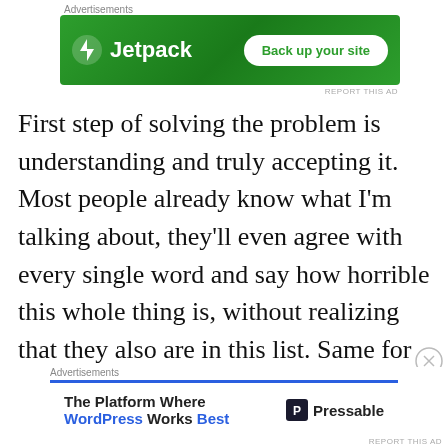[Figure (screenshot): Jetpack advertisement banner with green gradient background, Jetpack logo on left and 'Back up your site' button on right]
First step of solving the problem is understanding and truly accepting it. Most people already know what I'm talking about, they'll even agree with every single word and say how horrible this whole thing is, without realizing that they also are in this list. Same for me, I'm not perfect either, and sometimes I see how my expectations can become an obstacle for me. Most of this phenomenon happens
[Figure (screenshot): Pressable advertisement banner with blue top border showing 'The Platform Where WordPress Works Best' text and Pressable logo]